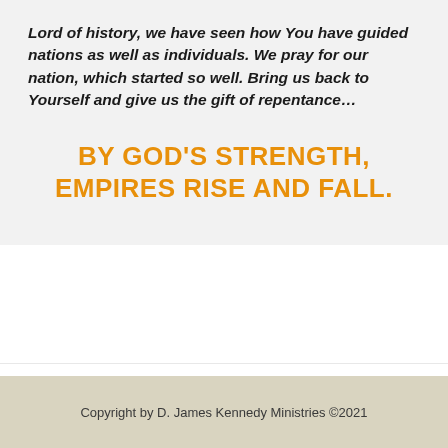Lord of history, we have seen how You have guided nations as well as individuals. We pray for our nation, which started so well. Bring us back to Yourself and give us the gift of repentance…
BY GOD'S STRENGTH, EMPIRES RISE AND FALL.
← Influencing Our World for Christ
The Foundation of All the Ism's →
Copyright by D. James Kennedy Ministries ©2021